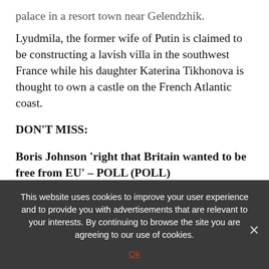palace in a resort town near Gelendzhik. Lyudmila, the former wife of Putin is claimed to be constructing a lavish villa in the southwest France while his daughter Katerina Tikhonova is thought to own a castle on the French Atlantic coast.
DON'T MISS:
Boris Johnson 'right that Britain wanted to be free from EU' – POLL (POLL)
Sunak fury as EU's next Russia sanctions threaten UK recession (REACTION)
This website uses cookies to improve your user experience and to provide you with advertisements that are relevant to your interests. By continuing to browse the site you are agreeing to our use of cookies.
Ok